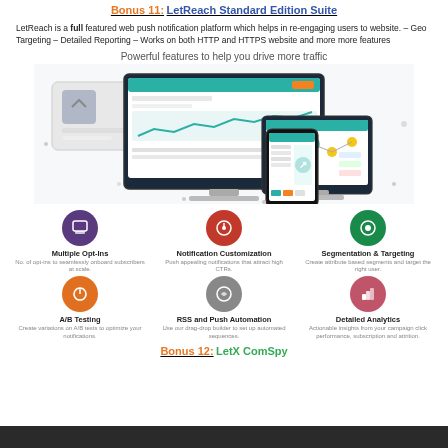Bonus 11: LetReach Standard Edition Suite
LetReach is a full featured web push notification platform which helps in re-engaging users to website. – Geo Targeting – Detailed Reporting – Works on both HTTP and HTTPS website and more more features
Powerful features to help you drive more traffic
[Figure (screenshot): Screenshot of LetReach platform displayed on desktop monitor, tablet, and mobile phone devices]
[Figure (infographic): Three feature icons row 1: Multiple Opt-Ins (purple icon), Notification Customization (red icon), Segmentation & Targeting (green icon) with descriptions]
[Figure (infographic): Three feature icons row 2: A/B Testing (orange icon), RSS and Push Automation (grey icon), Detailed Analytics (pink icon) with descriptions]
Bonus 12: LetX ComSpy